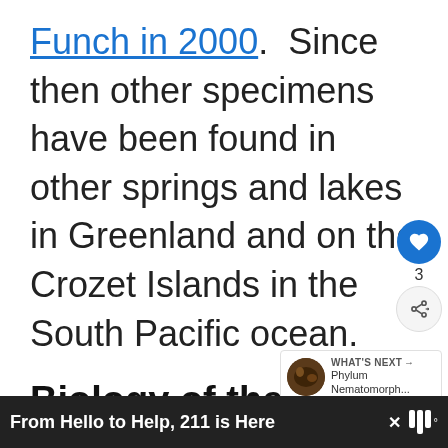Funch in 2000.  Since then other specimens have been found in other springs and lakes in Greenland and on the Crozet Islands in the South Pacific ocean.
Biology of the Micrognathozoa
[Figure (screenshot): Social interaction buttons: heart/like button (blue circle with heart icon), count label '3', and share button (grey circle with share icon)]
[Figure (screenshot): WHAT'S NEXT panel with thumbnail image and text 'Phylum Nematomorph...']
From Hello to Help, 211 is Here